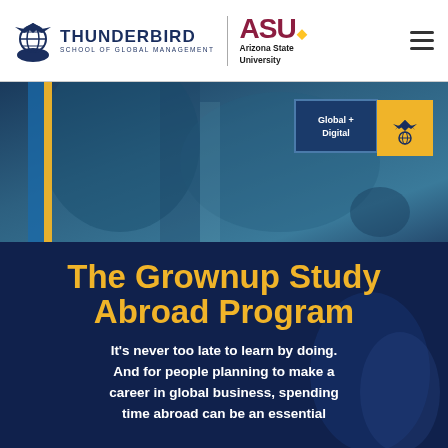[Figure (logo): Thunderbird School of Global Management logo with globe icon and text]
[Figure (logo): ASU Arizona State University logo in maroon and gold]
[Figure (photo): Hero background image of outdoor location with blue overlay, vertical blue and gold accent bars, and Global + Digital badge in top right corner]
The Grownup Study Abroad Program
It's never too late to learn by doing. And for people planning to make a career in global business, spending time abroad can be an essential